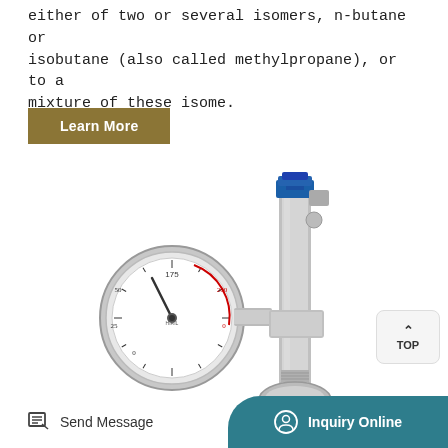either of two or several isomers, n-butane or isobutane (also called methylpropane), or to a mixture of these isome.
Learn More
[Figure (photo): A pressure gauge assembly with a circular analog pressure gauge on the left, a T-junction pipe fitting in the center, a blue valve at the top, and a cylindrical stainless steel vessel at the bottom. The assembly appears to be a gas/liquid pressure regulation setup.]
TOP
Send Message   Inquiry Online